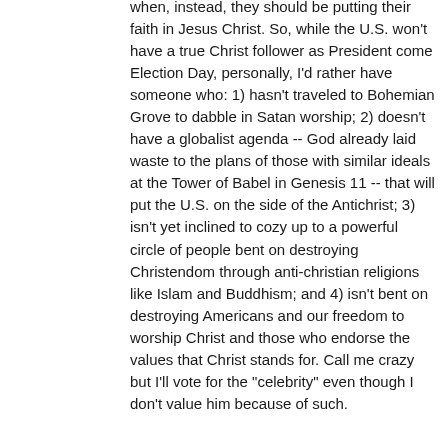when, instead, they should be putting their faith in Jesus Christ. So, while the U.S. won't have a true Christ follower as President come Election Day, personally, I'd rather have someone who: 1) hasn't traveled to Bohemian Grove to dabble in Satan worship; 2) doesn't have a globalist agenda -- God already laid waste to the plans of those with similar ideals at the Tower of Babel in Genesis 11 -- that will put the U.S. on the side of the Antichrist; 3) isn't yet inclined to cozy up to a powerful circle of people bent on destroying Christendom through anti-christian religions like Islam and Buddhism; and 4) isn't bent on destroying Americans and our freedom to worship Christ and those who endorse the values that Christ stands for. Call me crazy but I'll vote for the "celebrity" even though I don't value him because of such.
1 ▲ | ▼ Reply
boucle → qtcshv
6 years ago
God uses people for good (Saul became Paul, pagans became Christians), so what's wrong with